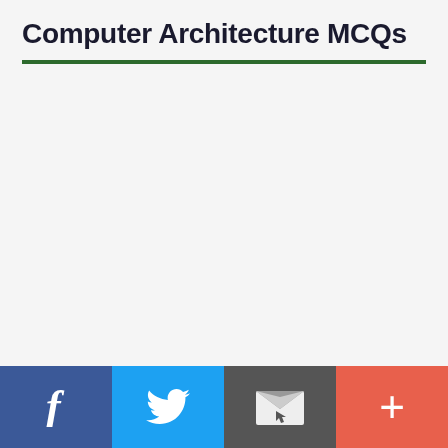Computer Architecture MCQs
Facebook | Twitter | Email | More social share buttons